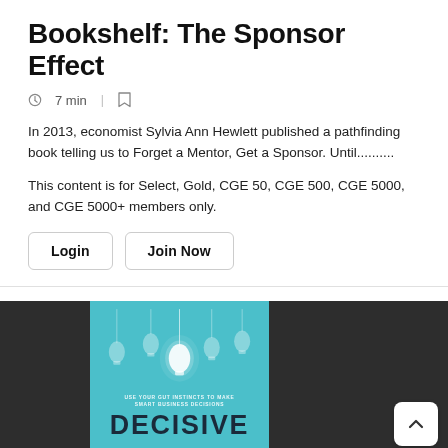Bookshelf: The Sponsor Effect
7 min
In 2013, economist Sylvia Ann Hewlett published a pathfinding book telling us to Forget a Mentor, Get a Sponsor. Until..........
This content is for Select, Gold, CGE 50, CGE 500, CGE 5000, and CGE 5000+ members only.
Login
Join Now
[Figure (photo): Book cover image showing a teal background with hanging light bulbs, subtitle 'USE YOUR GUT INSTINCTS TO MAKE SMART BUSINESS DECISIONS' and title 'DECISIVE' in dark text, on a dark flanking background]